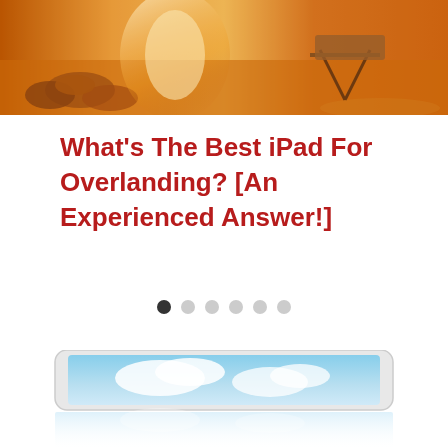[Figure (photo): Hero image showing a campfire with glowing embers and rocks on the left, and a camp chair on sandy/dusty terrain on the right, with warm orange tones.]
What’s The Best iPad For Overlanding? [An Experienced Answer!]
[Figure (other): Carousel navigation dots: one dark filled dot followed by five light grey dots indicating a slideshow position.]
[Figure (photo): Partially visible iPad showing a sky/clouds screen, displayed as a cropped image at the bottom of the page with a slight reflection effect below.]